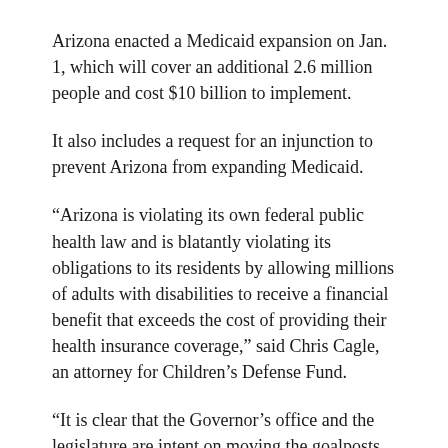Arizona enacted a Medicaid expansion on Jan. 1, which will cover an additional 2.6 million people and cost $10 billion to implement.
It also includes a request for an injunction to prevent Arizona from expanding Medicaid.
“Arizona is violating its own federal public health law and is blatantly violating its obligations to its residents by allowing millions of adults with disabilities to receive a financial benefit that exceeds the cost of providing their health insurance coverage,” said Chris Cagle, an attorney for Children’s Defense Fund.
“It is clear that the Governor’s office and the legislature are intent on moving the goalposts by creating a benefit for the elderly and disabled.”